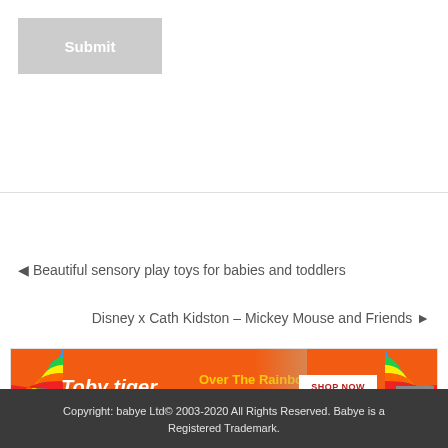Submit
◄ Beautiful sensory play toys for babies and toddlers
Disney x Cath Kidston – Mickey Mouse and Friends ►
[Figure (infographic): Toby Tiger Over The Rainbow Collection advertisement banner with orange background, rainbow graphics on both sides, a child photo, and a SHOP NOW button]
Copyright: babye Ltd© 2003-2020 All Rights Reserved. Babye is a Registered Trademark.